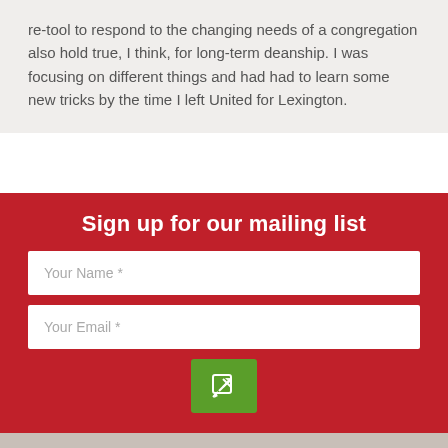re-tool to respond to the changing needs of a congregation also hold true, I think, for long-term deanship. I was focusing on different things and had had to learn some new tricks by the time I left United for Lexington.
Sign up for our mailing list
Your Name *
Your Email *
[Figure (other): Green submit button with pencil/edit icon]
"Listening to the birds is a form of spirituality that blurs what might be inside and the outside." - Cláudio Carva...
t.co/KZDj6txbKb